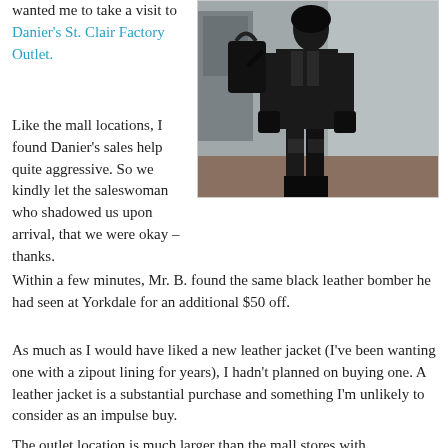wanted me to take a visit to Danier's St. Clair Factory Outlet.
[Figure (photo): A person dressed in all black, wearing a leather jacket and carrying a large black bag, standing in front of a building.]
Like the mall locations, I found Danier's sales help quite aggressive. So we kindly let the saleswoman who shadowed us upon arrival, that we were okay – thanks.
Within a few minutes, Mr. B. found the same black leather bomber he had seen at Yorkdale for an additional $50 off.
As much as I would have liked a new leather jacket (I've been wanting one with a zipout lining for years), I hadn't planned on buying one. A leather jacket is a substantial purchase and something I'm unlikely to consider as an impulse buy.
The outlet location is much larger than the mall stores with